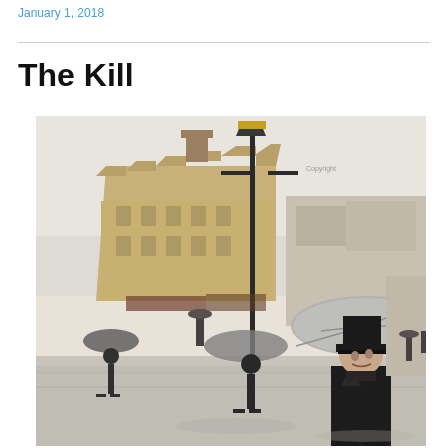January 1, 2018
The Kill
[Figure (illustration): A painting depicting a rainy Parisian street scene with people carrying umbrellas, a tall lamp post in the center, and Haussmann-style buildings in the background. In the foreground, a man wearing a top hat and dark coat is prominent on the right side.]